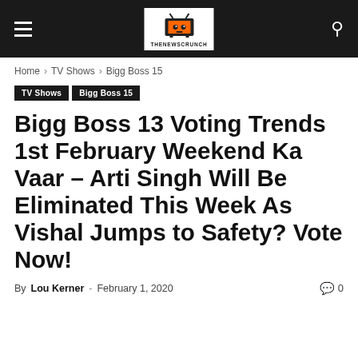[Figure (logo): TheNewsCrunch website logo in navbar with TV icon graphic and text THENEWSCRUNCH]
Home › TV Shows › Bigg Boss 15
TV Shows  Bigg Boss 15
Bigg Boss 13 Voting Trends 1st February Weekend Ka Vaar – Arti Singh Will Be Eliminated This Week As Vishal Jumps to Safety? Vote Now!
By Lou Kerner - February 1, 2020  0